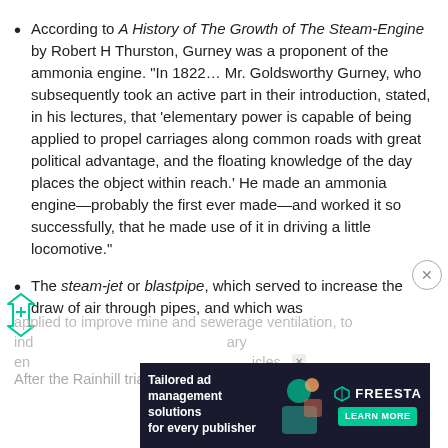According to A History of The Growth of The Steam-Engine by Robert H Thurston, Gurney was a proponent of the ammonia engine. "In 1822… Mr. Goldsworthy Gurney, who subsequently took an active part in their introduction, stated, in his lectures, that 'elementary power is capable of being applied to propel carriages along common roads with great political advantage, and the floating knowledge of the day places the object within reach.' He made an ammonia engine—probably the first ever made—and worked it so successfully, that he made use of it in driving a little locomotive."
The steam-jet or blastpipe, which served to increase the draw of air through pipes, and which was applied to improve mine and sewerage ventilation, to ind... ary en... icles.
After the Rainhill trials of 1829, there was considerable
[Figure (other): Advertisement banner: Tailored ad management solutions for every publisher - Freestar, with Learn More button, dark background with illustrated figures]